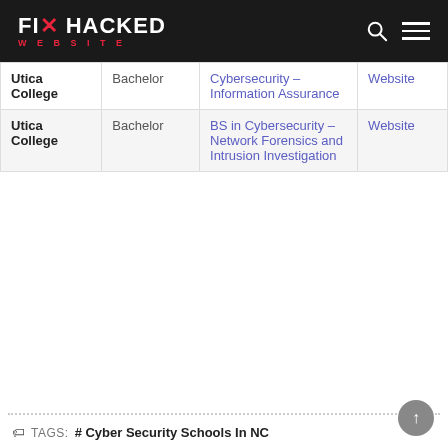FIX HACKED WEBSITE
| School | Level | Program | Link |
| --- | --- | --- | --- |
| Utica College | Bachelor | Cybersecurity – Information Assurance | Website |
| Utica College | Bachelor | BS in Cybersecurity – Network Forensics and Intrusion Investigation | Website |
TAGS: # Cyber Security Schools In NC